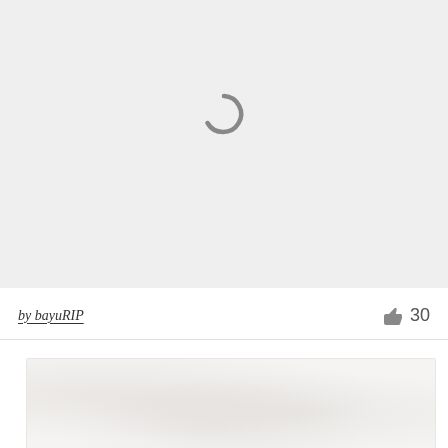[Figure (other): Loading spinner icon — a grey partial circle (C-shape) indicating content is loading, centered in a light grey panel]
by bayuRIP
30
[Figure (photo): Partially visible image thumbnail at the bottom of the page, showing a light-toned textured surface, mostly out of frame]